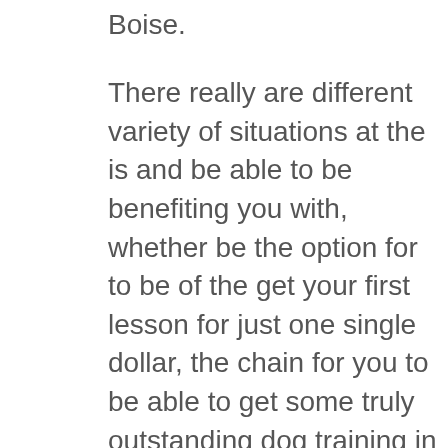Boise.
There really are different variety of situations at the is and be able to be benefiting you with, whether be the option for to be of the get your first lesson for just one single dollar, the chain for you to be able to get some truly outstanding dog training in Boise, or even the opportunity for you to be able to take a look at the different reviews and testimonials you all about the incredible expenses that people be able to have a discrete team right here within the state-of-the-art facility called TipTopk9. This